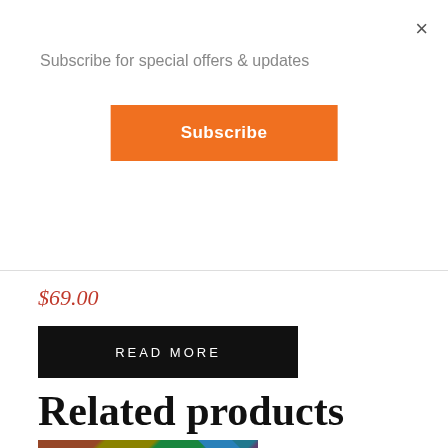×
Subscribe for special offers & updates
Subscribe
$69.00
READ MORE
Related products
[Figure (photo): Colorful outdoor flags/banners against a tree background, with a NEW badge in top-right corner and a Pinterest Save button in the bottom-left corner.]